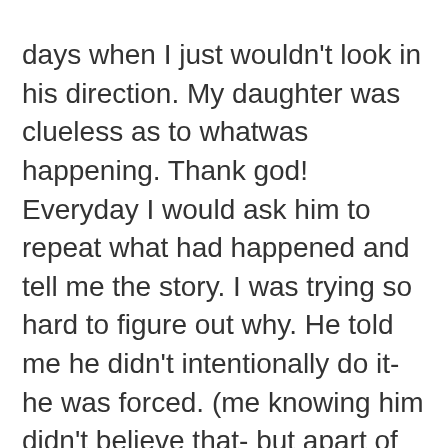days when I just wouldn't look in his direction. My daughter was clueless as to whatwas happening. Thank god! Everyday I would ask him to repeat what had happened and tell me the story. I was trying so hard to figure out why. He told me he didn't intentionally do it- he was forced. (me knowing him didn't believe that- but apart of me wanted to believe that because i knew him so well and that is not him. He is NOT a cheater)
We ended up somewhat working things out- i still have my thoughts. I went through an emotional breakdown for the next couple of months – lost 30lbs, couldn't eat, was constantly sick to my stomach, went on fits of rage, tried commiting suicide. It was rough- really rough.